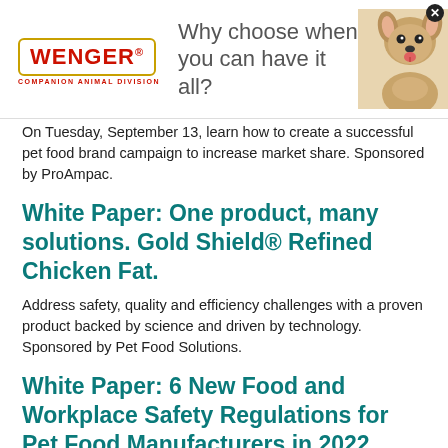[Figure (infographic): Wenger Companion Animal Division advertisement banner with logo, tagline 'Why choose when you can have it all?' and photo of a small dog (chihuahua)]
On Tuesday, September 13, learn how to create a successful pet food brand campaign to increase market share. Sponsored by ProAmpac.
White Paper: One product, many solutions. Gold Shield® Refined Chicken Fat.
Address safety, quality and efficiency challenges with a proven product backed by science and driven by technology. Sponsored by Pet Food Solutions.
White Paper: 6 New Food and Workplace Safety Regulations for Pet Food Manufacturers in 2022
Recent changes in food, environmental, and worker safety have caused many pet food engineers to take another look at their manufacturing facilities. In this article we will explore some of these